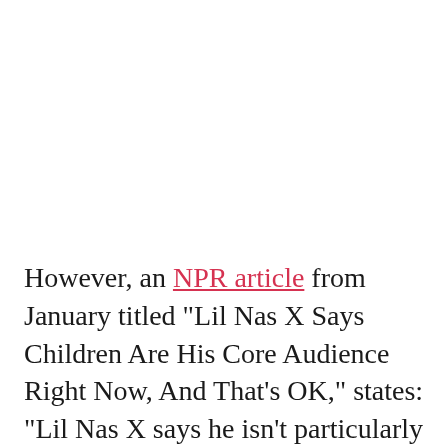However, an NPR article from January titled "Lil Nas X Says Children Are His Core Audience Right Now, And That's OK," states: "Lil Nas X says he isn't particularly